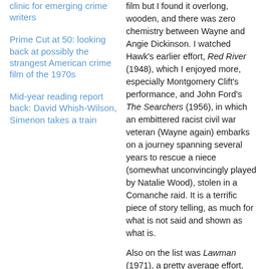clinic for emerging crime writers
Prime Cut at 50: looking back at possibly the strangest American crime film of the 1970s
Mid-year reading report back: David Whish-Wilson, Simenon takes a train
film but I found it overlong, wooden, and there was zero chemistry between Wayne and Angie Dickinson. I watched Hawk's earlier effort, Red River (1948), which I enjoyed more, especially Montgomery Clift's performance, and John Ford's The Searchers (1956), in which an embittered racist civil war veteran (Wayne again) embarks on a journey spanning several years to rescue a niece (somewhat unconvincingly played by Natalie Wood), stolen in a Comanche raid. It is a terrific piece of story telling, as much for what is not said and shown as what is.
Also on the list was Lawman (1971), a pretty average effort,